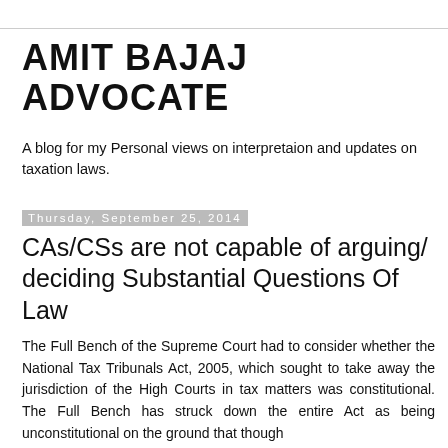AMIT BAJAJ ADVOCATE
A blog for my Personal views on interpretaion and updates on taxation laws.
Thursday, September 25, 2014
CAs/CSs are not capable of arguing/deciding Substantial Questions Of Law
The Full Bench of the Supreme Court had to consider whether the National Tax Tribunals Act, 2005, which sought to take away the jurisdiction of the High Courts in tax matters was constitutional. The Full Bench has struck down the entire Act as being unconstitutional on the ground that though